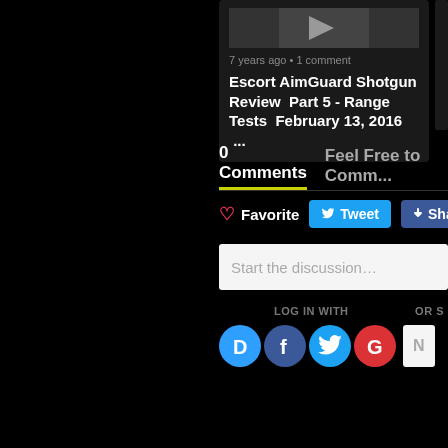[Figure (screenshot): Partial view of a video/article card showing meta text '7 years ago • 1 comment' and title 'Escort AimGuard Shotgun Review Part 5 - Range Tests February 13, 2016 ...']
7 years ago • 1 comment
Escort AimGuard Shotgun Review  Part 5 - Range Tests  February 13, 2016  ...
0 Comments    Feel Free to Comm...
♡ Favorite
Tweet
Share
Start the discussion...
LOG IN WITH
OR S